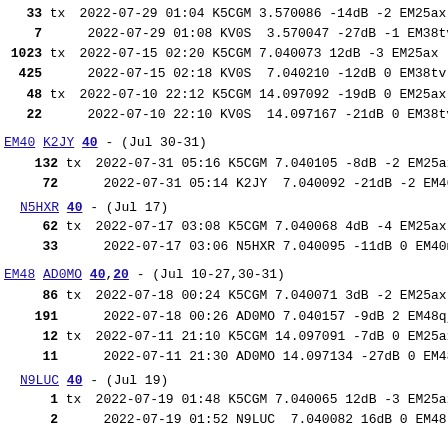33 tx 2022-07-29 01:04 K5CGM 3.570086 -14dB -2 EM25ax
7 2022-07-29 01:08 KV0S 3.570047 -27dB -1 EM38tv
1023 tx 2022-07-15 02:20 K5CGM 7.040073 12dB -3 EM25ax
425 2022-07-15 02:18 KV0S 7.040210 -12dB 0 EM38tv
48 tx 2022-07-10 22:12 K5CGM 14.097092 -19dB 0 EM25ax
22 2022-07-10 22:10 KV0S 14.097167 -21dB 0 EM38tv
EM40 K2JY 40 - (Jul 30-31)
132 tx 2022-07-31 05:16 K5CGM 7.040105 -8dB -2 EM25ax
72 2022-07-31 05:14 K2JY 7.040092 -21dB -2 EM40xa
N5HXR 40 - (Jul 17)
62 tx 2022-07-17 03:08 K5CGM 7.040068 4dB -4 EM25ax
33 2022-07-17 03:06 N5HXR 7.040095 -11dB 0 EM40mm
EM48 AD0MO 40,20 - (Jul 10-27,30-31)
86 tx 2022-07-18 00:24 K5CGM 7.040071 3dB -2 EM25ax
191 2022-07-18 00:26 AD0MO 7.040157 -9dB 2 EM48qj
12 tx 2022-07-11 21:10 K5CGM 14.097091 -7dB 0 EM25ax
11 2022-07-11 21:30 AD0MO 14.097134 -27dB 0 EM48qj
N9LUC 40 - (Jul 19)
1 tx 2022-07-19 01:48 K5CGM 7.040065 12dB -3 EM25ax
2 2022-07-19 01:52 N9LUC 7.040082 16dB 0 EM48 100